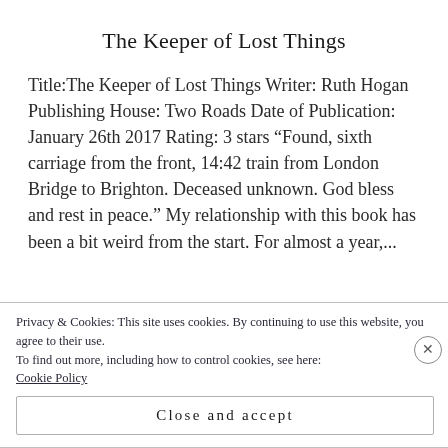The Keeper of Lost Things
Title:The Keeper of Lost Things Writer: Ruth Hogan Publishing House: Two Roads Date of Publication: January 26th 2017 Rating: 3 stars ''Found, sixth carriage from the front, 14:42 train from London Bridge to Brighton. Deceased unknown. God bless and rest in peace.'' My relationship with this book has been a bit weird from the start. For almost a year,...
Privacy & Cookies: This site uses cookies. By continuing to use this website, you agree to their use.
To find out more, including how to control cookies, see here: Cookie Policy
Close and accept